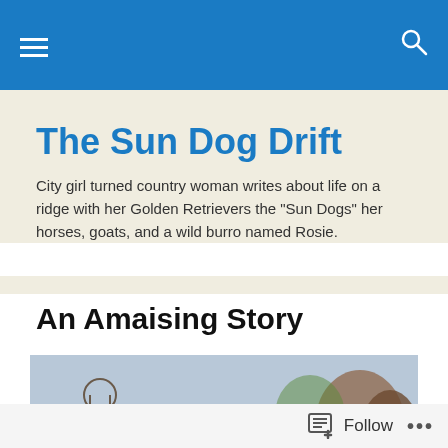Navigation bar with hamburger menu and search icon
The Sun Dog Drift
City girl turned country woman writes about life on a ridge with her Golden Retrievers the "Sun Dogs" her horses, goats, and a wild burro named Rosie.
An Amaising Story
[Figure (photo): A Golden Retriever dog sitting in a patio area with stone pillars, a metal star decoration, trellis, and autumn trees in the background]
Follow  ...